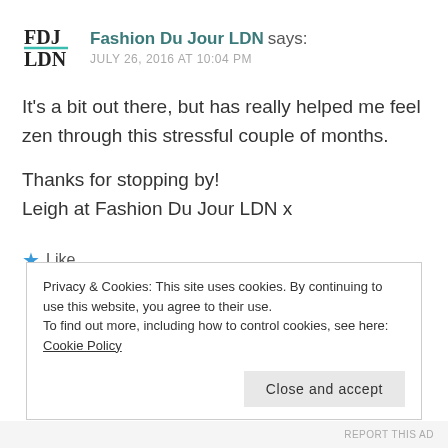[Figure (logo): FDJ LDN logo — black serif text with teal underline beneath FDJ]
Fashion Du Jour LDN says:
JULY 26, 2016 AT 10:04 PM
It's a bit out there, but has really helped me feel zen through this stressful couple of months.

Thanks for stopping by!
Leigh at Fashion Du Jour LDN x
★ Like
Privacy & Cookies: This site uses cookies. By continuing to use this website, you agree to their use.
To find out more, including how to control cookies, see here: Cookie Policy
Close and accept
REPORT THIS AD